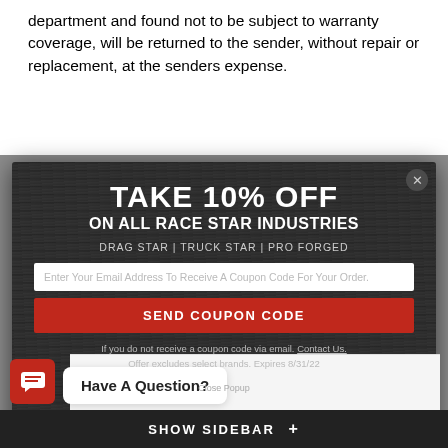department and found not to be subject to warranty coverage, will be returned to the sender, without repair or replacement, at the senders expense.
[Figure (screenshot): Modal popup overlay with dark wood-textured background promoting 10% off on all Race Star Industries products (Drag Star, Truck Star, Pro Forged). Contains email input field, Send Coupon Code button, fine print about contact and expiry 8/31/22, and a Close Popup link. A close (X) button is in the top right corner.]
If you do not receive a coupon code via email. Contact Us. Offer excludes select brands. Expires 8/31/22
Have A Question?
SHOW SIDEBAR +